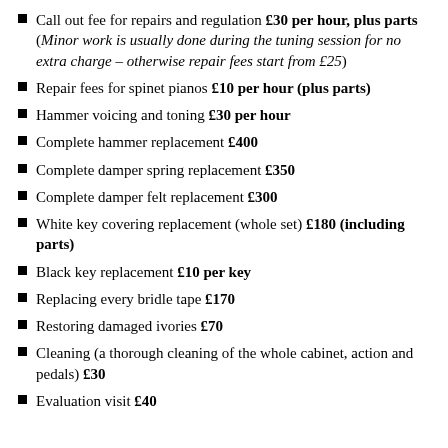Call out fee for repairs and regulation £30 per hour, plus parts (Minor work is usually done during the tuning session for no extra charge – otherwise repair fees start from £25)
Repair fees for spinet pianos £10 per hour (plus parts)
Hammer voicing and toning £30 per hour
Complete hammer replacement £400
Complete damper spring replacement £350
Complete damper felt replacement £300
White key covering replacement (whole set) £180 (including parts)
Black key replacement £10 per key
Replacing every bridle tape £170
Restoring damaged ivories £70
Cleaning (a thorough cleaning of the whole cabinet, action and pedals) £30
Evaluation visit £40